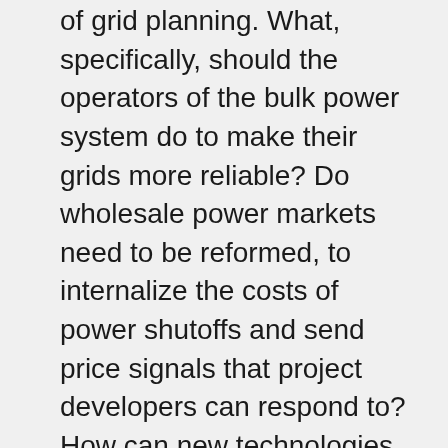of grid planning. What, specifically, should the operators of the bulk power system do to make their grids more reliable? Do wholesale power markets need to be reformed, to internalize the costs of power shutoffs and send price signals that project developers can respond to? How can new technologies, like demand response systems and microgrids, play new roles in making grids more resilient? And at an even more fundamental level… who is the grid for, anyway? Does the grid exist to serve people, or do people exist to serve the grid?
Energy Transition Show regular Lorenzo